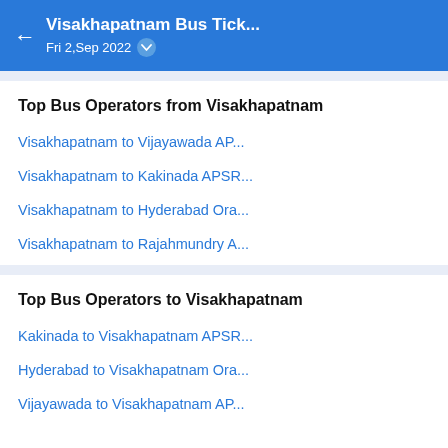Visakhapatnam Bus Tick... Fri 2,Sep 2022
Top Bus Operators from Visakhapatnam
Visakhapatnam to Vijayawada AP...
Visakhapatnam to Kakinada APSR...
Visakhapatnam to Hyderabad Ora...
Visakhapatnam to Rajahmundry A...
Top Bus Operators to Visakhapatnam
Kakinada to Visakhapatnam APSR...
Hyderabad to Visakhapatnam Ora...
Vijayawada to Visakhapatnam AP...